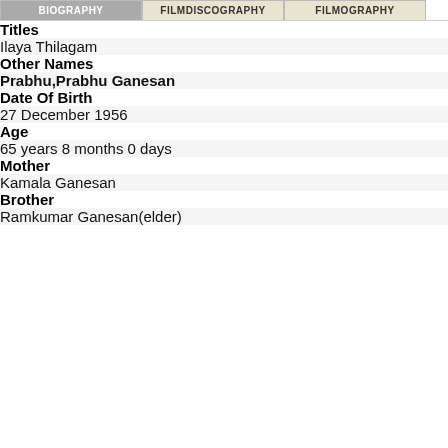BIOGRAPHY | FILMDISCOGRAPHY | FILMOGRAPHY
| Titles |  |
| Ilaya Thilagam |  |
| Other Names |  |
| Prabhu,Prabhu Ganesan |  |
| Date Of Birth |  |
| 27 December 1956 |  |
| Age |  |
| 65 years 8 months 0 days |  |
| Mother |  |
| Kamala Ganesan |  |
| Brother |  |
| Ramkumar Ganesan(elder) |  |